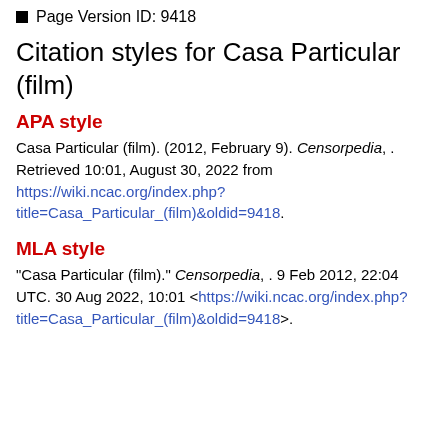Page Version ID: 9418
Citation styles for Casa Particular (film)
APA style
Casa Particular (film). (2012, February 9). Censorpedia, . Retrieved 10:01, August 30, 2022 from https://wiki.ncac.org/index.php?title=Casa_Particular_(film)&oldid=9418.
MLA style
"Casa Particular (film)." Censorpedia, . 9 Feb 2012, 22:04 UTC. 30 Aug 2022, 10:01 <https://wiki.ncac.org/index.php?title=Casa_Particular_(film)&oldid=9418>.